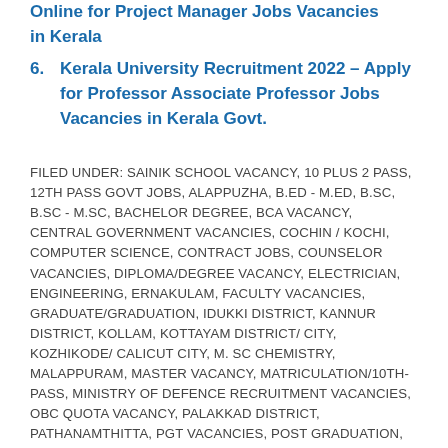Online for Project Manager Jobs Vacancies in Kerala
6. Kerala University Recruitment 2022 – Apply for Professor Associate Professor Jobs Vacancies in Kerala Govt.
FILED UNDER: SAINIK SCHOOL VACANCY, 10 PLUS 2 PASS, 12TH PASS GOVT JOBS, ALAPPUZHA, B.ED - M.ED, B.SC, B.SC - M.SC, BACHELOR DEGREE, BCA VACANCY, CENTRAL GOVERNMENT VACANCIES, COCHIN / KOCHI, COMPUTER SCIENCE, CONTRACT JOBS, COUNSELOR VACANCIES, DIPLOMA/DEGREE VACANCY, ELECTRICIAN, ENGINEERING, ERNAKULAM, FACULTY VACANCIES, GRADUATE/GRADUATION, IDUKKI DISTRICT, KANNUR DISTRICT, KOLLAM, KOTTAYAM DISTRICT/ CITY, KOZHIKODE/ CALICUT CITY, M. SC CHEMISTRY, MALAPPURAM, MASTER VACANCY, MATRICULATION/10TH-PASS, MINISTRY OF DEFENCE RECRUITMENT VACANCIES, OBC QUOTA VACANCY, PALAKKAD DISTRICT, PATHANAMTHITTA, PGT VACANCIES, POST GRADUATION, SC/ST, SCHOOL/VIDYALAYA VACANCY, TGT VACANCY, THALASSERY, THIRUVANANTHAPURAM CITY, THRISSUR, WALK IN INTERVIEW, WAYANAD